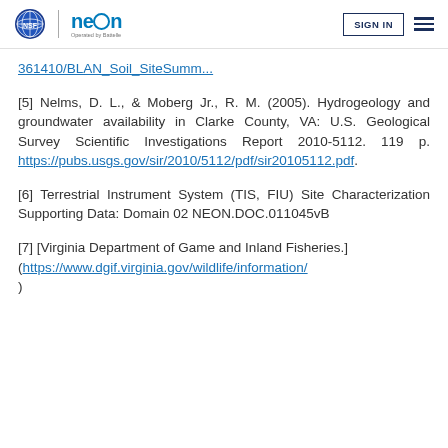NEON | SIGN IN
361410/BLAN_Soil_SiteSumm...
[5] Nelms, D. L., & Moberg Jr., R. M. (2005). Hydrogeology and groundwater availability in Clarke County, VA: U.S. Geological Survey Scientific Investigations Report 2010-5112. 119 p. https://pubs.usgs.gov/sir/2010/5112/pdf/sir20105112.pdf.
[6] Terrestrial Instrument System (TIS, FIU) Site Characterization Supporting Data: Domain 02 NEON.DOC.011045vB
[7] [Virginia Department of Game and Inland Fisheries.] (https://www.dgif.virginia.gov/wildlife/information/ )